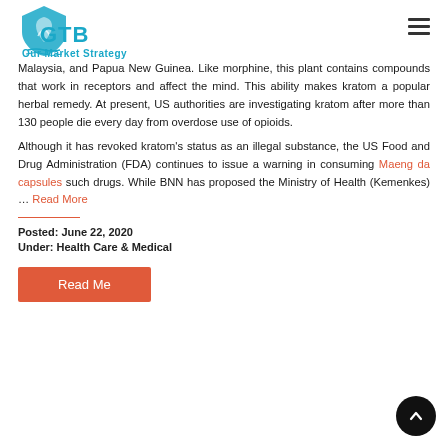[Figure (logo): GTB shield logo with blue color and tagline 'Our Market Strategy']
Malaysia, and Papua New Guinea. Like morphine, this plant contains compounds that work in receptors and affect the mind. This ability makes kratom a popular herbal remedy. At present, US authorities are investigating kratom after more than 130 people die every day from overdose use of opioids.
Although it has revoked kratom's status as an illegal substance, the US Food and Drug Administration (FDA) continues to issue a warning in consuming Maeng da capsules such drugs. While BNN has proposed the Ministry of Health (Kemenkes) … Read More
Posted: June 22, 2020
Under: Health Care & Medical
[Figure (other): Red 'Read Me' button]